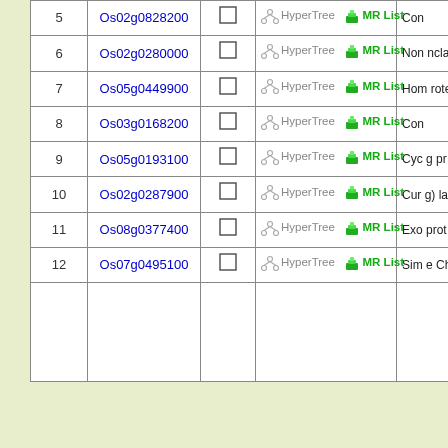| # | Gene ID |  | Links | Description |
| --- | --- | --- | --- | --- |
| 5 | Os02g0828200 | ☐ | HyperTree  MR List | Con... |
| 6 | Os02g0280000 | ☐ | HyperTree  MR List | Non...ncla... |
| 7 | Os05g0449900 | ☐ | HyperTree  MR List | Hom...rote... |
| 8 | Os03g0168200 | ☐ | HyperTree  MR List | Con... |
| 9 | Os05g0193100 | ☐ | HyperTree  MR List | Cyc...g pr... |
| 10 | Os02g0287900 | ☐ | HyperTree  MR List | Cur...g) la...ein. |
| 11 | Os08g0377400 | ☐ | HyperTree  MR List | Exo...prot... |
| 12 | Os07g0495100 | ☐ | HyperTree  MR List | Sim...e Ch...mer... |
|  |  |  |  |  |